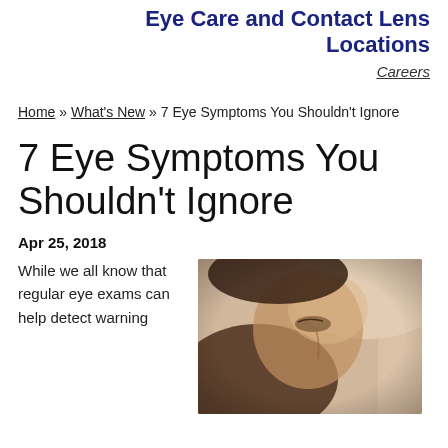Eye Care and Contact Lens Locations
Careers
Home » What's New » 7 Eye Symptoms You Shouldn't Ignore
7 Eye Symptoms You Shouldn't Ignore
Apr 25, 2018
While we all know that regular eye exams can help detect warning
[Figure (photo): Close-up side profile photo of a person's face, appearing to look downward, with soft focus background]